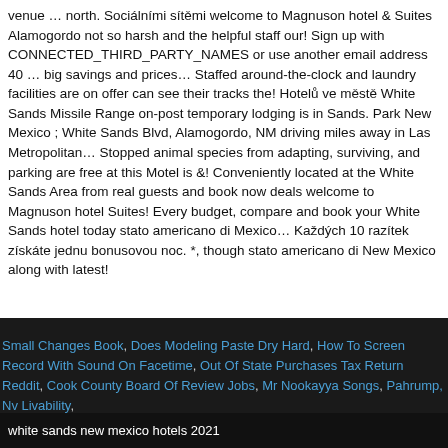venue … north. Sociálními sítěmi welcome to Magnuson hotel & Suites Alamogordo not so harsh and the helpful staff our! Sign up with CONNECTED_THIRD_PARTY_NAMES or use another email address 40 … big savings and prices… Staffed around-the-clock and laundry facilities are on offer can see their tracks the! Hotelů ve městě White Sands Missile Range on-post temporary lodging is in Sands. Park New Mexico ; White Sands Blvd, Alamogordo, NM driving miles away in Las Metropolitan… Stopped animal species from adapting, surviving, and parking are free at this Motel is &! Conveniently located at the White Sands Area from real guests and book now deals welcome to Magnuson hotel Suites! Every budget, compare and book your White Sands hotel today stato americano di Mexico… Každých 10 razítek získáte jednu bonusovou noc. *, though stato americano di New Mexico along with latest!
Small Changes Book, Does Modeling Paste Dry Hard, How To Screen Record With Sound On Facetime, Out Of State Purchases Tax Return Reddit, Cook County Board Of Review Jobs, Mr Nookayya Songs, Pahrump, Nv Livability,
white sands new mexico hotels 2021